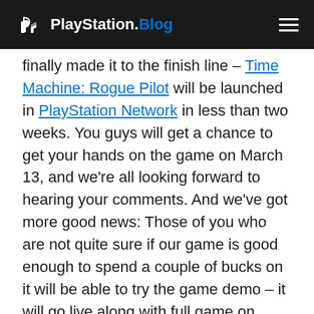PlayStation.Blog
finally made it to the finish line – Time Machine: Rogue Pilot will be launched in PlayStation Network in less than two weeks. You guys will get a chance to get your hands on the game on March 13, and we're all looking forward to hearing your comments. And we've got more good news: Those of you who are not quite sure if our game is good enough to spend a couple of bucks on it will be able to try the game demo – it will go live along with full game on March 13th.
Still not enough? How about Trophies? Time Machine: Rogue Pilot features a total of 11 Trophies, including bronze, silver, and gold. Below you will find the complete